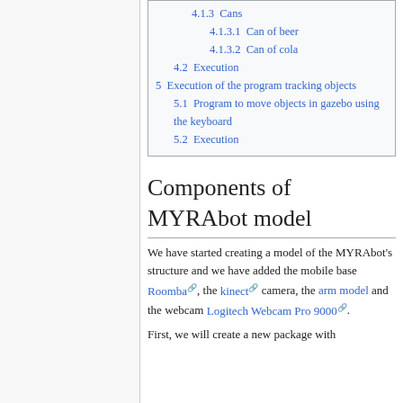4.1.3 Cans
4.1.3.1 Can of beer
4.1.3.2 Can of cola
4.2 Execution
5 Execution of the program tracking objects
5.1 Program to move objects in gazebo using the keyboard
5.2 Execution
Components of MYRAbot model
We have started creating a model of the MYRAbot's structure and we have added the mobile base Roomba, the kinect camera, the arm model and the webcam Logitech Webcam Pro 9000.
First, we will create a new package with